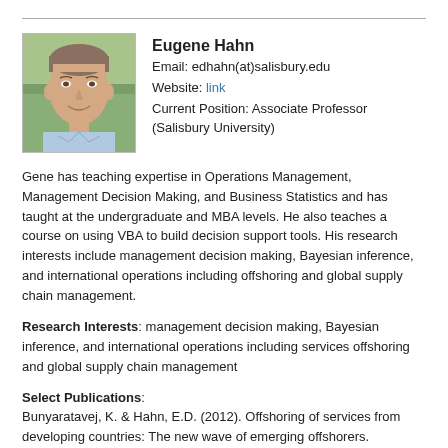[Figure (photo): Headshot photo of Eugene Hahn, a middle-aged man smiling, outdoors background]
Eugene Hahn
Email: edhahn(at)salisbury.edu
Website: link
Current Position: Associate Professor (Salisbury University)
Gene has teaching expertise in Operations Management, Management Decision Making, and Business Statistics and has taught at the undergraduate and MBA levels. He also teaches a course on using VBA to build decision support tools. His research interests include management decision making, Bayesian inference, and international operations including offshoring and global supply chain management.
Research Interests: management decision making, Bayesian inference, and international operations including services offshoring and global supply chain management
Select Publications:
Bunyaratavej, K. & Hahn, E.D. (2012). Offshoring of services from developing countries: The new wave of emerging offshorers. International Journal of Service Science, Management, Engineering, and Technology, 3(2), 1-12.
Parente, R.C., Baack, D.W., & Hahn, E.D. (2011). The effect of